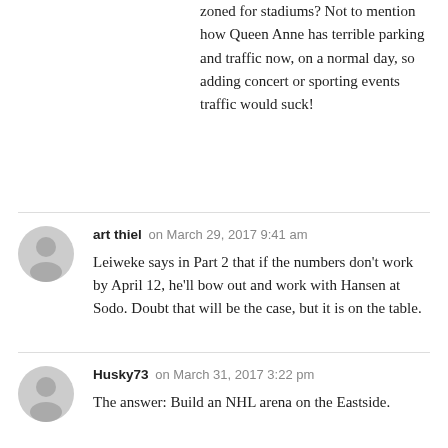zoned for stadiums? Not to mention how Queen Anne has terrible parking and traffic now, on a normal day, so adding concert or sporting events traffic would suck!
art thiel on March 29, 2017 9:41 am
Leiweke says in Part 2 that if the numbers don't work by April 12, he'll bow out and work with Hansen at Sodo. Doubt that will be the case, but it is on the table.
Husky73 on March 31, 2017 3:22 pm
The answer: Build an NHL arena on the Eastside.